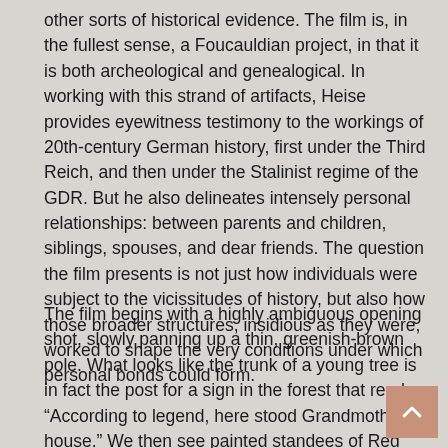other sorts of historical evidence. The film is, in the fullest sense, a Foucauldian project, in that it is both archeological and genealogical. In working with this strand of artifacts, Heise provides eyewitness testimony to the workings of 20th-century German history, first under the Third Reich, and then under the Stalinist regime of the GDR. But he also delineates intensely personal relationships: between parents and children, siblings, spouses, and dear friends. The question the film presents is not just how individuals were subject to the vicissitudes of history, but also how those broader structures, insidious as they were, worked to shape the very conditions under which personal bonds could form.
The film begins with a highly ambiguous opening shot, slowly panning up a thin, greenish-brown pole. What looks like the trunk of a young tree is in fact the post for a sign in the forest that reads “According to legend, here stood Grandmother’s house.” We then see painted standees of Red Riding Hood, a woodsman, and a wolf. None of this will be mentioned again in Heimat, but the images are suggestive. How do the mythic tales of Germania correspond to the actual families and lives that supposedly blossom forth from the homeland? The next image is a